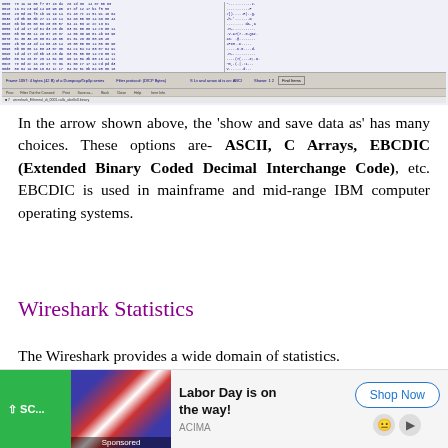[Figure (screenshot): Wireshark hex dump and ASCII analysis window showing packet data in hexadecimal columns on the left and ASCII representation on the right, with toolbar controls including filter, print, save, back, close, and help buttons at the bottom.]
In the arrow shown above, the 'show and save data as' has many choices. These options are- ASCII, C Arrays, EBCDIC (Extended Binary Coded Decimal Interchange Code), etc. EBCDIC is used in mainframe and mid-range IBM computer operating systems.
Wireshark Statistics
The Wireshark provides a wide domain of statistics.
[Figure (advertisement): Advertisement bar at bottom: green scroll button on left, image of American flags with 'Sponsored' label, ad text 'Labor Day is on the way!' from ACIMA, Shop Now button, and action icons on right.]